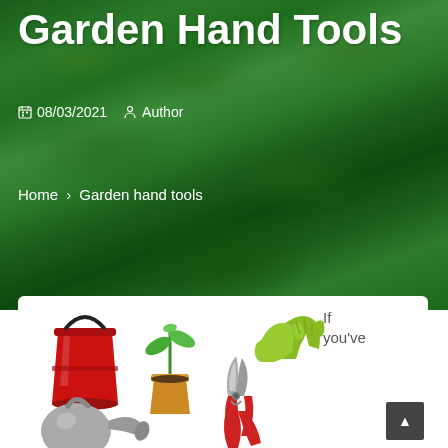Garden Hand Tools
08/03/2021   Author
Home > Garden hand tools
[Figure (illustration): Garden tools illustration including a red bucket, potted plant with seedling, pruning shears, green gardening gloves, and a watering can, on a white background card]
If you've